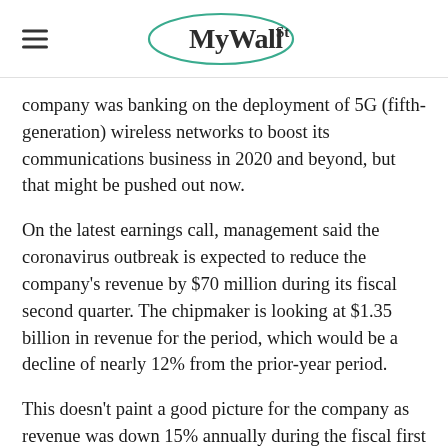MyWallSt
company was banking on the deployment of 5G (fifth-generation) wireless networks to boost its communications business in 2020 and beyond, but that might be pushed out now.
On the latest earnings call, management said the coronavirus outbreak is expected to reduce the company's revenue by $70 million during its fiscal second quarter. The chipmaker is looking at $1.35 billion in revenue for the period, which would be a decline of nearly 12% from the prior-year period.
This doesn't paint a good picture for the company as revenue was down 15% annually during the fiscal first quarter as well. But the company's tepid results and